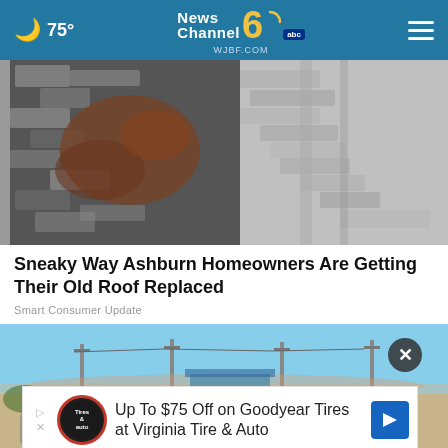75° | News Channel 6 abc | WJBF.COM
[Figure (photo): Damaged roof shingles and debris, close-up overhead view]
Sneaky Way Ashburn Homeowners Are Getting Their Old Roof Replaced
Smart Consumer Update
[Figure (photo): Outdoor road scene with poles under blue sky, desert/arid landscape]
Up To $75 Off on Goodyear Tires at Virginia Tire & Auto